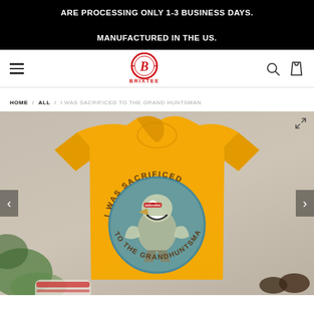ARE PROCESSING ONLY 1-3 BUSINESS DAYS. MANUFACTURED IN THE US.
[Figure (logo): BrixTee logo — red circle with B monogram and BRIXTEE text below]
HOME / ALL / I WAS SACRIFICED TO THE GRAND HUNTSMAN
[Figure (photo): Yellow t-shirt with 'I WAS SACRIFICED TO THE GRAND HUNTSMAN' graphic, displayed on a table with plants, sneakers, and sunglasses nearby]